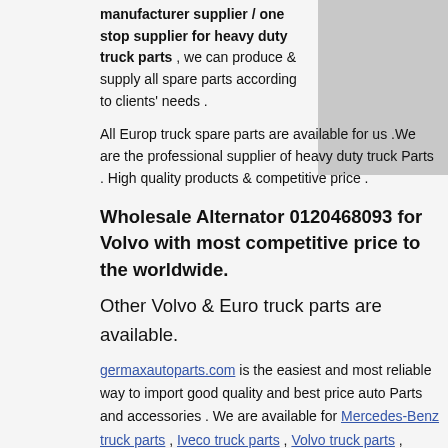manufacturer supplier / one stop supplier for heavy duty truck parts , we can produce & supply all spare parts according to clients' needs . All Europ truck spare parts are available for us .We are the professional supplier of heavy duty truck Parts . High quality products & competitive price .
Wholesale Alternator 0120468093 for Volvo with most competitive price to the worldwide.
Other Volvo & Euro truck parts are available.
germaxautoparts.com is the easiest and most reliable way to import good quality and best price auto Parts and accessories . We are available for Mercedes-Benz truck parts , Iveco truck parts , Volvo truck parts , Scania truck parts , DAF truck parts , Man truck parts , Renault truck parts . Mack truck parts .